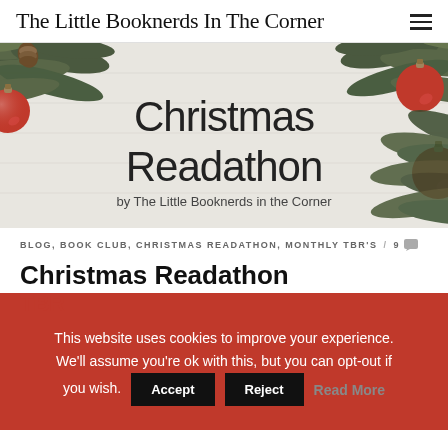The Little Booknerds In The Corner
[Figure (illustration): Christmas Readathon banner image with red ornament balls, pine branches on white wood background. Text reads 'Christmas Readathon by The Little Booknerds in the Corner']
BLOG, BOOK CLUB, CHRISTMAS READATHON, MONTHLY TBR'S  /  9
Christmas Readathon TBR
This website uses cookies to improve your experience. We'll assume you're ok with this, but you can opt-out if you wish.
Accept  Reject  Read More